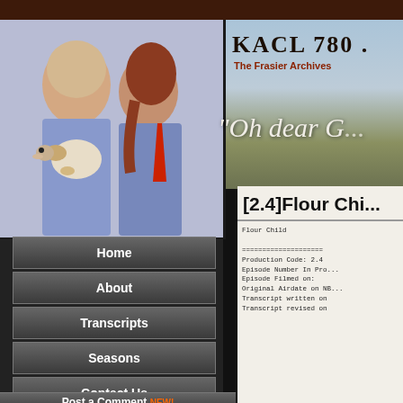[Figure (photo): Photo of two men and a Jack Russell terrier dog. Both men wearing blue shirts, one with a red tie. Website header for KACL 780 The Frasier Archives fan site with sky/landscape background and italic text 'Oh dear G...']
KACL 780 . The Frasier Archives | "Oh dear G..."
Home
About
Transcripts
Seasons
Top Ten
Contact Us
Post a Comment NEW!
[2.4]Flour Chi...
Flour Child

====================
Production Code: 2.4
Episode Number In Pro...
Episode Filmed on:
Original Airdate on NB...
Transcript written on
Transcript revised on